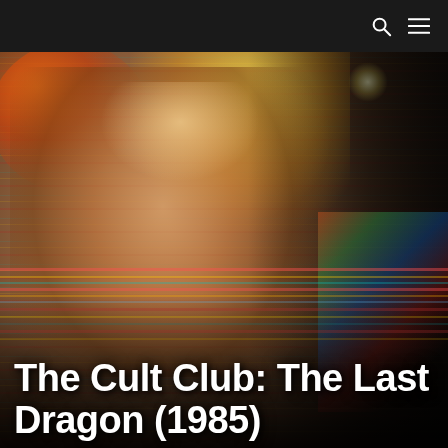[search icon] [menu icon]
[Figure (photo): Movie promotional image for The Last Dragon (1985) showing a close-up of a young Black man's face with warm golden backlight glow, orange-red colors in upper left, colorful strobe/neon streaks across the lower portion, and a dancer visible in the right background.]
The Cult Club: The Last Dragon (1985)